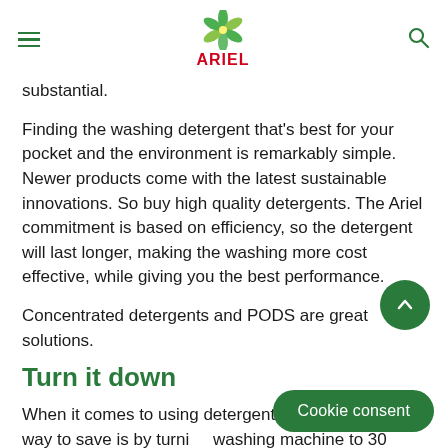ARIEL (logo/navigation header)
substantial.
Finding the washing detergent that's best for your pocket and the environment is remarkably simple. Newer products come with the latest sustainable innovations. So buy high quality detergents. The Ariel commitment is based on efficiency, so the detergent will last longer, making the washing more cost effective, while giving you the best performance.
Concentrated detergents and PODS are great solutions.
Turn it down
When it comes to using detergent, the most efficient way to save is by turning washing machine to 30 degrees cycles, which are often automatically available
Cookie consent